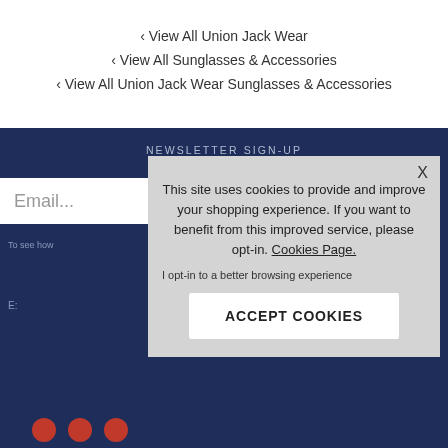‹ View All Union Jack Wear
‹ View All Sunglasses & Accessories
‹ View All Union Jack Wear Sunglasses & Accessories
NEWSLETTER SIGN-UP
Email...
To see how
E:
This site uses cookies to provide and improve your shopping experience. If you want to benefit from this improved service, please opt-in. Cookies Page.
I opt-in to a better browsing experience
ACCEPT COOKIES